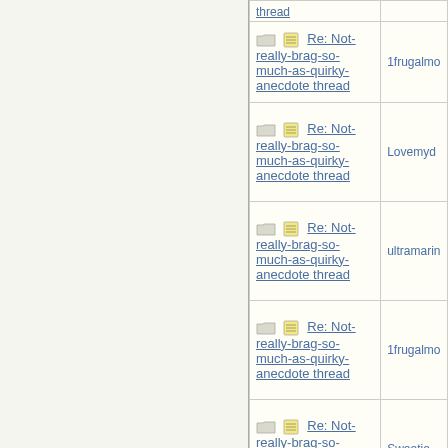| Subject | Author |
| --- | --- |
| Re: Not-really-brag-so-much-as-quirky-anecdote thread | 1frugalmo |
| Re: Not-really-brag-so-much-as-quirky-anecdote thread | Lovemyd |
| Re: Not-really-brag-so-much-as-quirky-anecdote thread | ultramarin |
| Re: Not-really-brag-so-much-as-quirky-anecdote thread | 1frugalmo |
| Re: Not-really-brag-so-much-as-quirky-anecdote thread | Sweetie |
| Re: Not-really-brag-so-much-as-quirky-anecdote thread | aquinas |
| Re: Not-really- | (partial) |